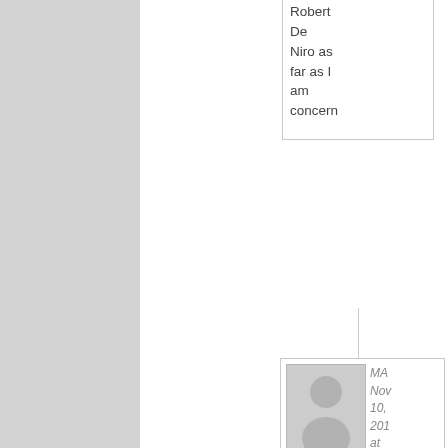Robert De Niro as far as I am concern
[Figure (illustration): Grey placeholder avatar silhouette image for user comment]
MA Nov 10, 2015 at 9:4 pm
I just wait for the movies to filter down to the swap meets. That way I